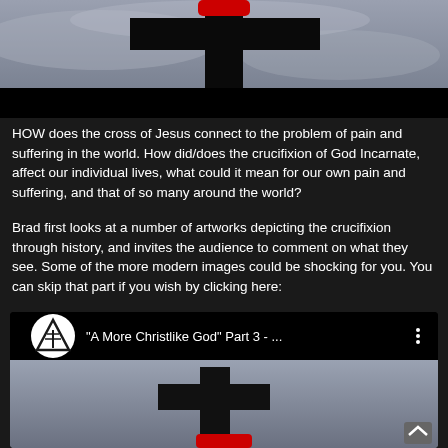[Figure (photo): Dark cross silhouette against a grey cloudy sky with a dark banner/subtitle bar at the bottom, partial view (top of page)]
HOW does the cross of Jesus connect to the problem of pain and suffering in the world. How did/does the crucifixion of God Incarnate, affect our individual lives, what could it mean for our own pain and suffering, and that of so many around the world?
Brad first looks at a number of artworks depicting the crucifixion through history, and invites the audience to comment on what they see. Some of the more modern images could be shocking for you. You can skip that part if you wish by clicking here:
[Figure (screenshot): YouTube video thumbnail showing '"A More Christlike God" Part 3 - ...' with a triangular logo/icon, dark cross image below, and a scroll-up button in the bottom right]